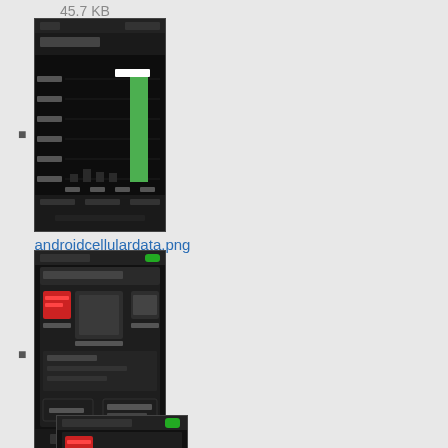45.7 KB
[Figure (screenshot): Thumbnail of androidcellulardata.png showing a dark screen with green bar chart]
androidcellulardata.png
1200×1920
2014/09/30 22:43
78.3 KB
[Figure (screenshot): Thumbnail of androiddashboard.jpg showing a dark UI dashboard screen]
androiddashboard.jpg
286×477
2012/08/07 20:49
34.2 KB
[Figure (screenshot): Thumbnail of third android image partially visible at bottom]